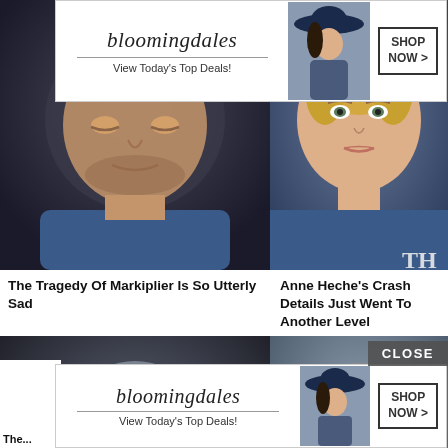[Figure (photo): Close-up of a man in dark clothing and beanie hat, looking downward]
[Figure (photo): Blonde woman at an event, with TH watermark in corner]
[Figure (photo): Bloomingdale's advertisement banner with model in hat, 'View Today's Top Deals!' and 'SHOP NOW >' button]
The Tragedy Of Markiplier Is So Utterly Sad
Anne Heche's Crash Details Just Went To Another Level
[Figure (photo): Close-up of a metallic Transformer robot with blue glowing eyes]
[Figure (photo): Middle-aged man with grey hair looking slightly to the side]
[Figure (photo): Bloomingdale's advertisement banner with model in hat, 'View Today's Top Deals!' and 'SHOP NOW >' button]
CLOSE
The...
...ff...